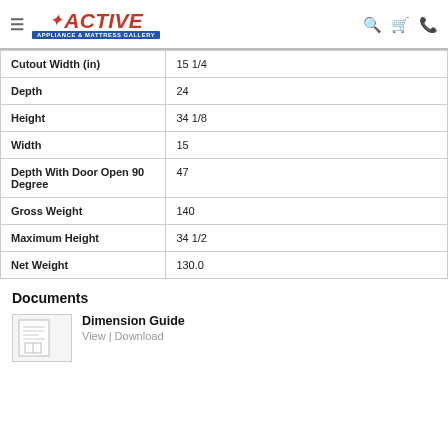Active Appliance & Mattress Gallery
| Attribute | Value |
| --- | --- |
| Cutout Width (in) | 15 1/4 |
| Depth | 24 |
| Height | 34 1/8 |
| Width | 15 |
| Depth With Door Open 90 Degree | 47 |
| Gross Weight | 140 |
| Maximum Height | 34 1/2 |
| Net Weight | 130.0 |
Documents
Dimension Guide
View | Download